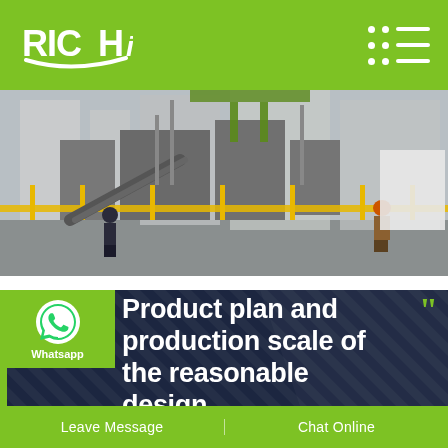RICHI
[Figure (photo): Industrial manufacturing plant interior showing machinery, conveyor systems, yellow railings, and workers in safety equipment]
Product plan and production scale of the reasonable design 2 tons per hour
Leave Message  Chat Online